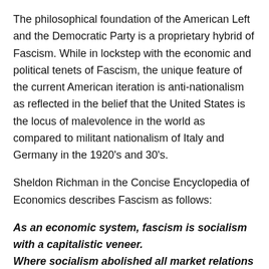The philosophical foundation of the American Left and the Democratic Party is a proprietary hybrid of Fascism. While in lockstep with the economic and political tenets of Fascism, the unique feature of the current American iteration is anti-nationalism as reflected in the belief that the United States is the locus of malevolence in the world as compared to militant nationalism of Italy and Germany in the 1920’s and 30’s.
Sheldon Richman in the Concise Encyclopedia of Economics describes Fascism as follows:
As an economic system, fascism is socialism with a capitalistic veneer. Where socialism abolished all market relations outright, fascism left the appearance of market
outright, fascism left the appearance of market